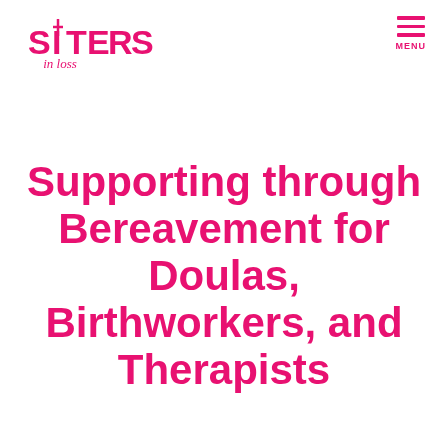SISTERS in loss — MENU
Supporting through Bereavement for Doulas, Birthworkers, and Therapists